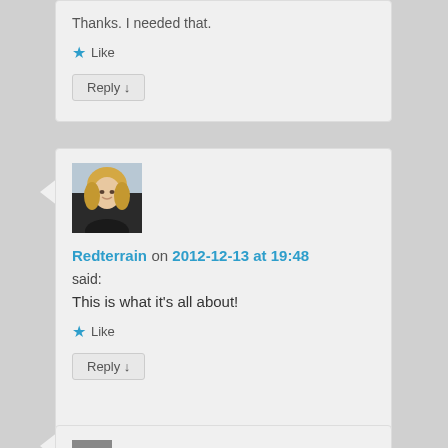Thanks. I needed that.
★ Like
Reply ↓
[Figure (photo): Avatar photo of Redterrain, a person with blonde hair]
Redterrain on 2012-12-13 at 19:48
said:
This is what it's all about!
★ Like
Reply ↓